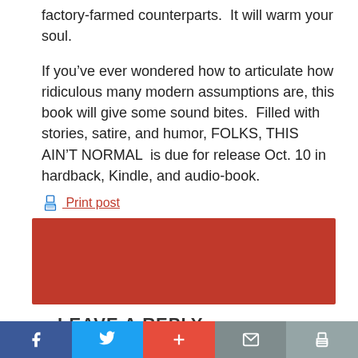factory-farmed counterparts.  It will warm your soul.
If you’ve ever wondered how to articulate how ridiculous many modern assumptions are, this book will give some sound bites.  Filled with stories, satire, and humor, FOLKS, THIS AIN’T NORMAL  is due for release Oct. 10 in hardback, Kindle, and audio-book.
🖨 Print post
[Figure (other): Red/orange rectangular banner block]
LEAVE A REPLY
Social share bar: Facebook, Twitter, Plus, Mail, Print